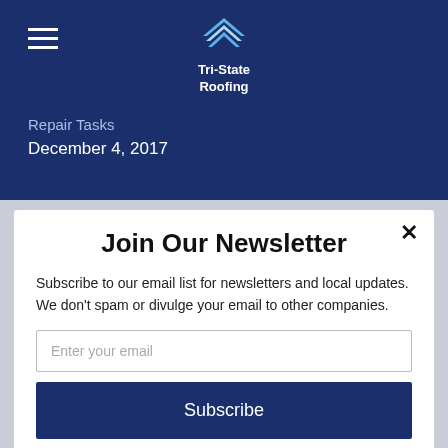[Figure (logo): Tri-State Roofing logo with blue roof/chevron icon and company name]
Repair Tasks
December 4, 2017
Join Our Newsletter
Subscribe to our email list for newsletters and local updates. We don't spam or divulge your email to other companies.
Enter your email
Subscribe
powered by MailMunch